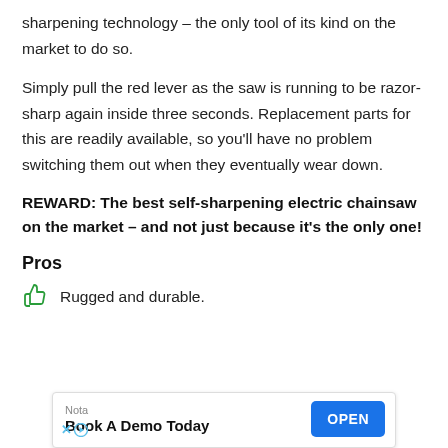sharpening technology – the only tool of its kind on the market to do so.
Simply pull the red lever as the saw is running to be razor-sharp again inside three seconds. Replacement parts for this are readily available, so you'll have no problem switching them out when they eventually wear down.
REWARD: The best self-sharpening electric chainsaw on the market – and not just because it's the only one!
Pros
Rugged and durable.
[Figure (other): Advertisement banner: Nota – Book A Demo Today – OPEN button]